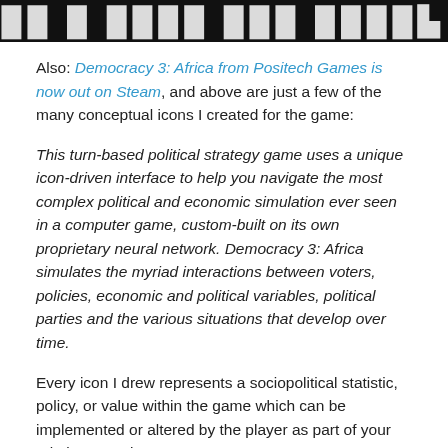[Figure (screenshot): Dark banner image with white stylized text showing partial game logo/title for Democracy 3: Africa]
Also: Democracy 3: Africa from Positech Games is now out on Steam, and above are just a few of the many conceptual icons I created for the game:
This turn-based political strategy game uses a unique icon-driven interface to help you navigate the most complex political and economic simulation ever seen in a computer game, custom-built on its own proprietary neural network. Democracy 3: Africa simulates the myriad interactions between voters, policies, economic and political variables, political parties and the various situations that develop over time.
Every icon I drew represents a sociopolitical statistic, policy, or value within the game which can be implemented or altered by the player as part of your role in governing an